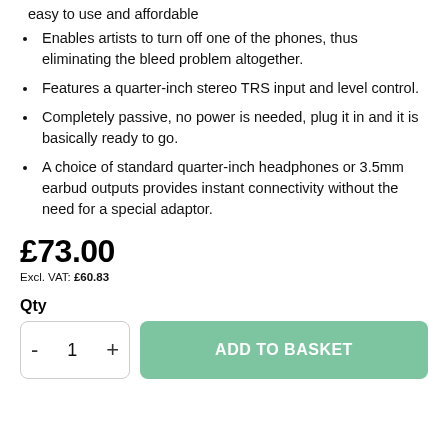easy to use and affordable
Enables artists to turn off one of the phones, thus eliminating the bleed problem altogether.
Features a quarter-inch stereo TRS input and level control.
Completely passive, no power is needed, plug it in and it is basically ready to go.
A choice of standard quarter-inch headphones or 3.5mm earbud outputs provides instant connectivity without the need for a special adaptor.
£73.00
Excl. VAT: £60.83
Qty
ADD TO BASKET